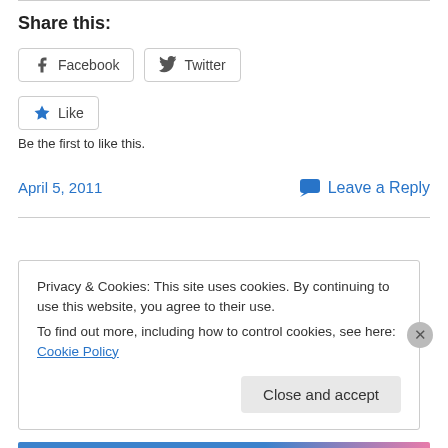Share this:
[Figure (other): Facebook share button with Facebook icon]
[Figure (other): Twitter share button with Twitter bird icon]
[Figure (other): Like button with star icon]
Be the first to like this.
April 5, 2011
Leave a Reply
Privacy & Cookies: This site uses cookies. By continuing to use this website, you agree to their use. To find out more, including how to control cookies, see here: Cookie Policy
Close and accept